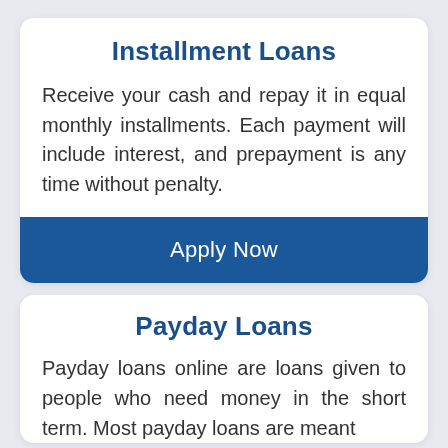Installment Loans
Receive your cash and repay it in equal monthly installments. Each payment will include interest, and prepayment is any time without penalty.
Apply Now
Payday Loans
Payday loans online are loans given to people who need money in the short term. Most payday loans are meant